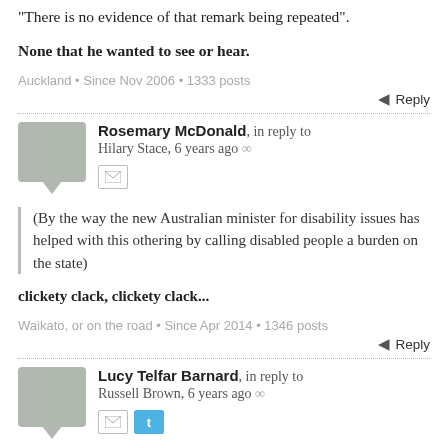“There is no evidence of that remark being repeated”.
None that he wanted to see or hear.
Auckland • Since Nov 2006 • 1333 posts
Reply
Rosemary McDonald, in reply to Hilary Stace, 6 years ago ∞
(By the way the new Australian minister for disability issues has helped with this othering by calling disabled people a burden on the state)
clickety clack, clickety clack...
Waikato, or on the road • Since Apr 2014 • 1346 posts
Reply
Lucy Telfar Barnard, in reply to Russell Brown, 6 years ago ∞
utter fucking horrorshow